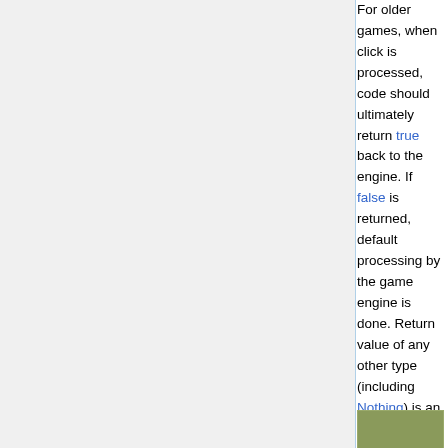For older games, when click is processed, code should ultimately return true back to the engine. If false is returned, default processing by the game engine is done. Return value of any other type (including Nothing) is an error. In such case default processing by the game engine is done, and error message may be displayed.